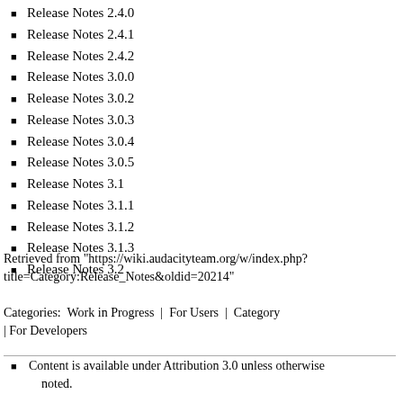Release Notes 2.4.0
Release Notes 2.4.1
Release Notes 2.4.2
Release Notes 3.0.0
Release Notes 3.0.2
Release Notes 3.0.3
Release Notes 3.0.4
Release Notes 3.0.5
Release Notes 3.1
Release Notes 3.1.1
Release Notes 3.1.2
Release Notes 3.1.3
Release Notes 3.2
Retrieved from "https://wiki.audacityteam.org/w/index.php?title=Category:Release_Notes&oldid=20214"
Categories:  Work in Progress | For Users | Category | For Developers
Content is available under Attribution 3.0 unless otherwise noted.